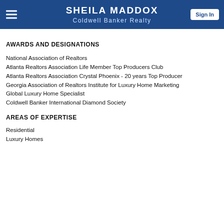SHEILA MADDOX
Coldwell Banker Realty
AWARDS AND DESIGNATIONS
National Association of Realtors
Atlanta Realtors Association Life Member Top Producers Club
Atlanta Realtors Association Crystal Phoenix - 20 years Top Producer
Georgia Association of Realtors Institute for Luxury Home Marketing
Global Luxury Home Specialist
Coldwell Banker International Diamond Society
AREAS OF EXPERTISE
Residential
Luxury Homes